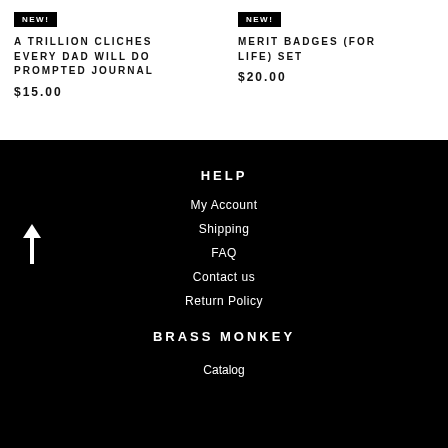NEW!
A TRILLION CLICHES EVERY DAD WILL DO PROMPTED JOURNAL
$15.00
NEW!
MERIT BADGES (FOR LIFE) SET
$20.00
HELP
My Account
Shipping
FAQ
Contact us
Return Policy
BRASS MONKEY